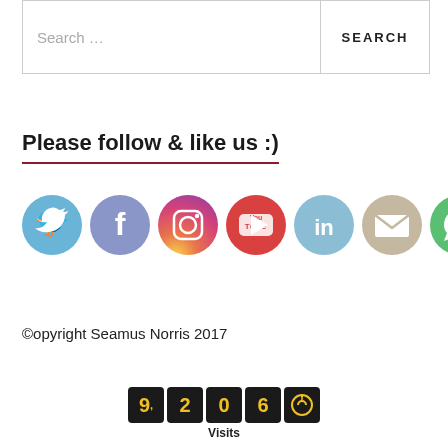[Figure (screenshot): Search bar with text input placeholder 'Search ...' and a SEARCH button]
Please follow & like us :)
[Figure (infographic): Row of social media icons: Twitter, Facebook, Instagram, YouTube, LinkedIn, Email, WhatsApp, RSS]
©opyright Seamus Norris 2017
[Figure (infographic): Visit counter showing digits 9, 2, 0, 6 with a power/visit icon, labeled 'Visits']